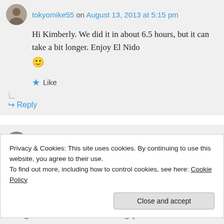tokyomike55 on August 13, 2013 at 5:15 pm
Hi Kimberly. We did it in about 6.5 hours, but it can take a bit longer. Enjoy El Nido 🙂
★ Like
↳ Reply
Yssa on August 14, 2013 at 9:39 am
Privacy & Cookies: This site uses cookies. By continuing to use this website, you agree to their use.
To find out more, including how to control cookies, see here: Cookie Policy
Close and accept
managed to drive faster than normal guy